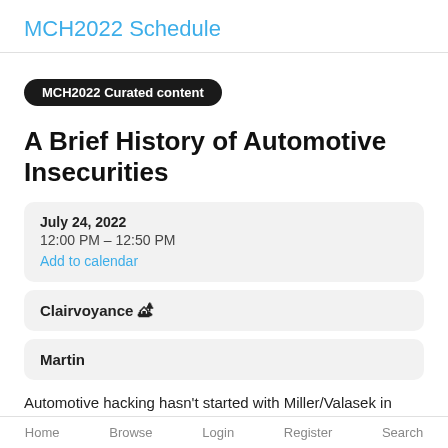MCH2022 Schedule
MCH2022 Curated content
A Brief History of Automotive Insecurities
July 24, 2022
12:00 PM – 12:50 PM
Add to calendar
Clairvoyance 🏕
Martin
Automotive hacking hasn't started with Miller/Valasek in 2015 - and it hasn't ended with it, either. This talk will give an overview of automotive insecurities of the past ~10
Home  Browse  Login  Register  Search